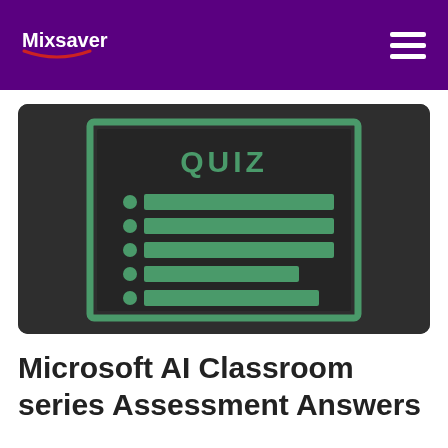Mixsaver
[Figure (illustration): A dark-background illustration of a quiz card/board with the word QUIZ in green bold text at the top, and several green horizontal bars representing answer choices, each preceded by a green circular bullet, arranged in rows inside a green-bordered rectangle.]
Microsoft AI Classroom series Assessment Answers